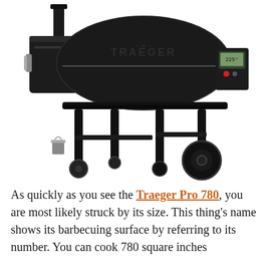[Figure (photo): A Traeger Pro 780 pellet grill photographed on a white background. The grill is black with a large barrel-shaped cooking chamber, a digital controller on the right side, metal legs, two large wheels on the right, two small casters on the left, and a small metal bucket hanging on the left leg. The Traeger logo is visible on the lid.]
As quickly as you see the Traeger Pro 780, you are most likely struck by its size. This thing's name shows its barbecuing surface by referring to its number. You can cook 780 square inches